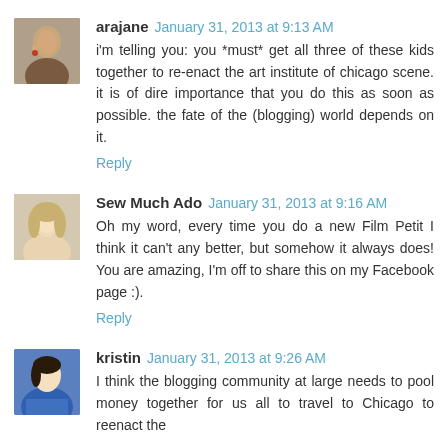arajane  January 31, 2013 at 9:13 AM
i'm telling you: you *must* get all three of these kids together to re-enact the art institute of chicago scene. it is of dire importance that you do this as soon as possible. the fate of the (blogging) world depends on it.
Reply
Sew Much Ado  January 31, 2013 at 9:16 AM
Oh my word, every time you do a new Film Petit I think it can't any better, but somehow it always does! You are amazing, I'm off to share this on my Facebook page :).
Reply
kristin  January 31, 2013 at 9:26 AM
I think the blogging community at large needs to pool money together for us all to travel to Chicago to reenact the art scene scene :). You nailed it this one, the ace of kids...